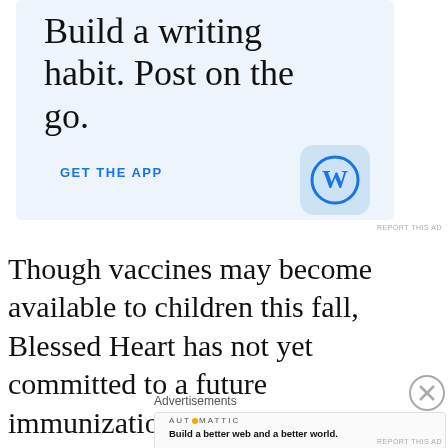[Figure (other): WordPress app advertisement banner with light blue background. Large serif text reads 'Build a writing habit. Post on the go.' with a blue 'GET THE APP' link and the WordPress 'W' app icon on the right.]
REPORT THIS AD
Though vaccines may become available to children this fall, Blessed Heart has not yet committed to a future immunization requirement
Advertisements
[Figure (other): Automattic advertisement banner. Shows 'AUT⊙MATTIC' logo text and bold text 'Build a better web and a better world.']
REPORT THIS AD